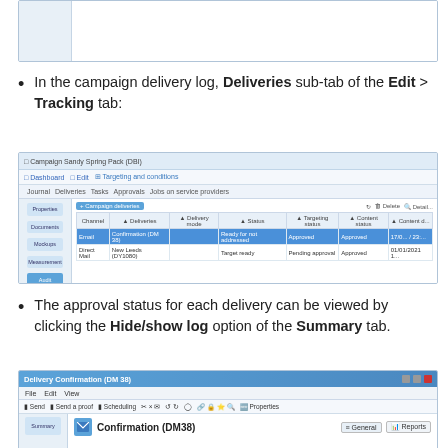[Figure (screenshot): Top portion of a campaign delivery log screenshot, partially cropped]
In the campaign delivery log, Deliveries sub-tab of the Edit > Tracking tab:
[Figure (screenshot): Screenshot of Campaign Sandy Spring Pack (DBI) showing the Deliveries tab with a list of campaign deliveries including Email and Direct Mail entries]
The approval status for each delivery can be viewed by clicking the Hide/show log option of the Summary tab.
[Figure (screenshot): Screenshot of Delivery Confirmation (DM38) dialog showing Summary tab with Confirmation (DM38) header, General and Reports tabs]